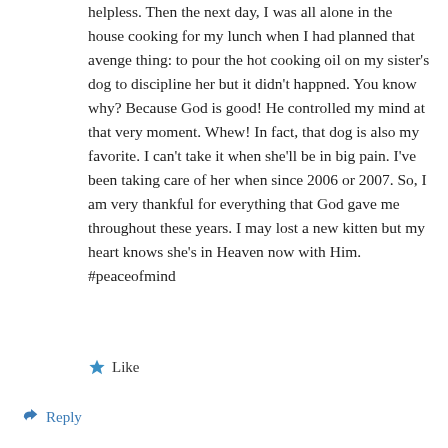helpless. Then the next day, I was all alone in the house cooking for my lunch when I had planned that avenge thing: to pour the hot cooking oil on my sister's dog to discipline her but it didn't happned. You know why? Because God is good! He controlled my mind at that very moment. Whew! In fact, that dog is also my favorite. I can't take it when she'll be in big pain. I've been taking care of her when since 2006 or 2007. So, I am very thankful for everything that God gave me throughout these years. I may lost a new kitten but my heart knows she's in Heaven now with Him. #peaceofmind
★ Like
↪ Reply